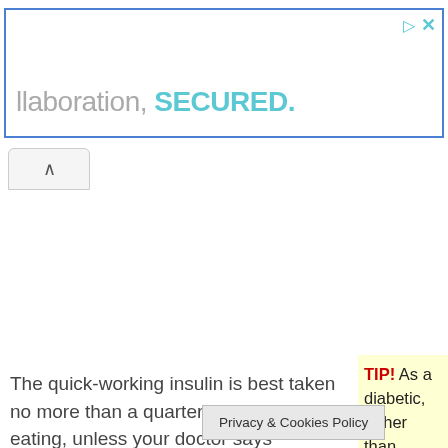[Figure (screenshot): Advertisement banner with text 'llaboration, SECURED.' in cyan bold, blue border, with play and close icons top-right]
[Figure (screenshot): Collapse/chevron-up button below the ad banner]
The quick-working insulin is best taken no more than a quarter hour before eating, unless your doctor says something different. Fast-acting insulins are quite effective in maintaining blood sugar levels but they must be pro...
TIP! As a diabetic, rather than eating three meals a day, consider eating five to six lighter meals. Eating smaller amounts with greater ...ng the ...tain
Privacy & Cookies Policy